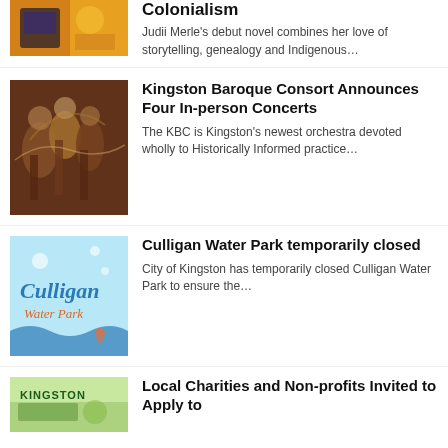[Figure (photo): Partial image showing orange/warm tones related to colonialism article]
Colonialism
Judii Merle's debut novel combines her love of storytelling, genealogy and Indigenous…
[Figure (photo): Baroque painting of musicians playing lutes and other instruments]
Kingston Baroque Consort Announces Four In-person Concerts
The KBC is Kingston's newest orchestra devoted wholly to Historically Informed practice…
[Figure (logo): Culligan Water Park logo on light blue background with wave design]
Culligan Water Park temporarily closed
City of Kingston has temporarily closed Culligan Water Park to ensure the…
[Figure (photo): Kingston related green image, partial view]
Local Charities and Non-profits Invited to Apply to